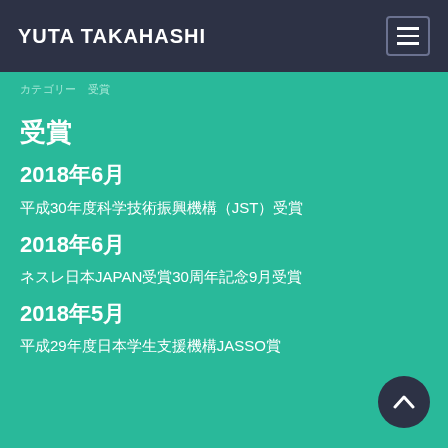YUTA TAKAHASHI
カテゴリー　受賞
受賞
2018年6月
平成30年度科学技術振興機構（JST）受賞
2018年6月
ネスレ日本JAPAN受賞30周年記念9月受賞
2018年5月
平成29年度日本学生支援機構JASSO賞